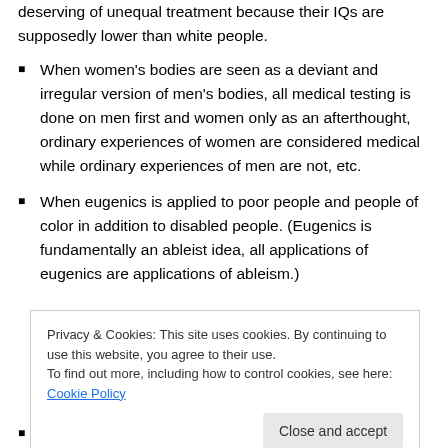deserving of unequal treatment because their IQs are supposedly lower than white people.
When women's bodies are seen as a deviant and irregular version of men's bodies, all medical testing is done on men first and women only as an afterthought, ordinary experiences of women are considered medical while ordinary experiences of men are not, etc.
When eugenics is applied to poor people and people of color in addition to disabled people. (Eugenics is fundamentally an ableist idea, all applications of eugenics are applications of ableism.)
Privacy & Cookies: This site uses cookies. By continuing to use this website, you agree to their use. To find out more, including how to control cookies, see here: Cookie Policy
When political dissidents of all kinds (including those